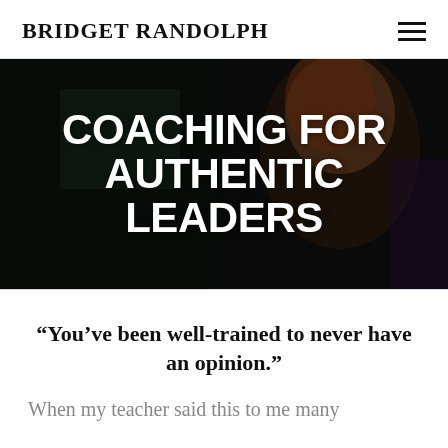BRIDGET RANDOLPH
[Figure (photo): Dark background photo of a woman with red hair speaking or presenting, overlaid with bold white text reading COACHING FOR AUTHENTIC LEADERS]
COACHING FOR AUTHENTIC LEADERS
“You’ve been well-trained to never have an opinion.”
When my teacher said this to me many